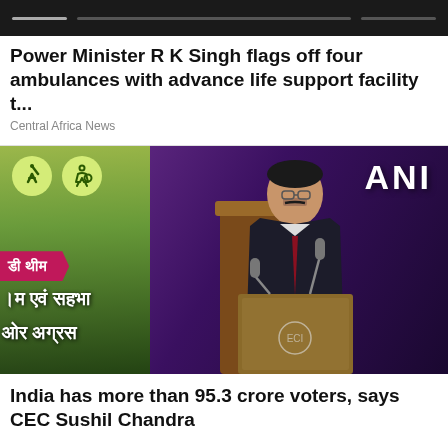Power Minister R K Singh flags off four ambulances with advance life support facility t...
Central Africa News
[Figure (photo): Man speaking at a podium with microphones at what appears to be an official government event. Hindi text banners visible on left side. ANI news watermark in top right corner.]
India has more than 95.3 crore voters, says CEC Sushil Chandra